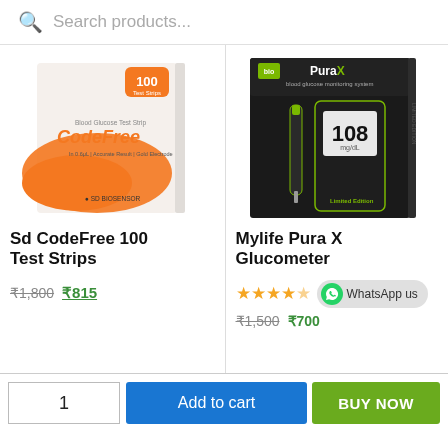Search products...
[Figure (photo): SD CodeFree Blood Glucose Test Strip box showing 100 test strips, orange SD Biosensor branding]
Sd CodeFree 100 Test Strips
₹1,800  ₹815
[Figure (photo): Mylife Pura X Glucometer box showing glucose monitor device with lancing pen, Limited Edition]
Mylife Pura X Glucometer
★★★★☆  WhatsApp us
₹1,500  ₹700
1
Add to cart
BUY NOW